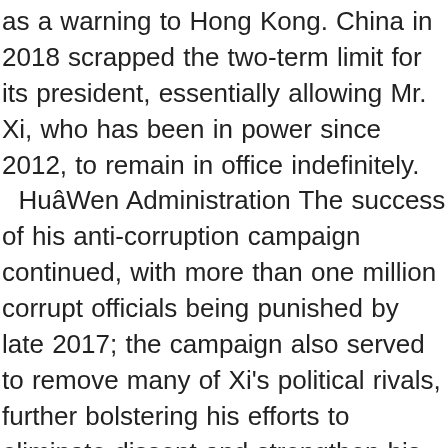as a warning to Hong Kong. China in 2018 scrapped the two-term limit for its president, essentially allowing Mr. Xi, who has been in power since 2012, to remain in office indefinitely. HuâWen Administration The success of his anti-corruption campaign continued, with more than one million corrupt officials being punished by late 2017; the campaign also served to remove many of Xi's political rivals, further bolstering his efforts to eliminate dissent and strengthen his grip on power. Beijing police detained Wang amid a national crackdown on human rights lawyers and activists in August 2015; while detained he was reportedly tortured with electric shocks and forced to take medications. SHANGHAI, China, Oct. 31, 2019 -- Honeywell today announced that Scott Zhang has been appointed as President of Honeywell China, effective